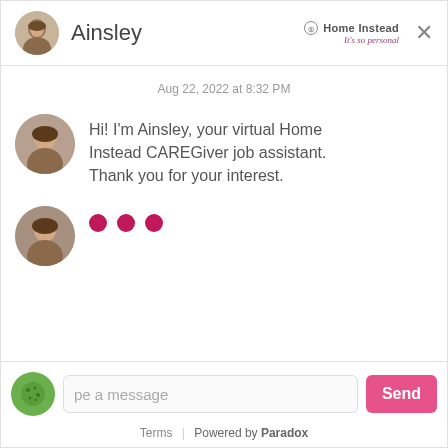[Figure (screenshot): Chat interface header with avatar of Ainsley and Home Instead logo]
Ainsley
[Figure (logo): Home Instead logo with tagline 'It's so personal']
Aug 22, 2022 at 8:32 PM
[Figure (photo): Avatar photo of Ainsley, a woman with brown hair]
Hi! I'm Ainsley, your virtual Home Instead CAREGiver job assistant. Thank you for your interest.
[Figure (photo): Avatar photo of Ainsley, a woman with brown hair]
... (typing indicator with three pink dots)
pe a message
Send
Terms | Powered by Paradox